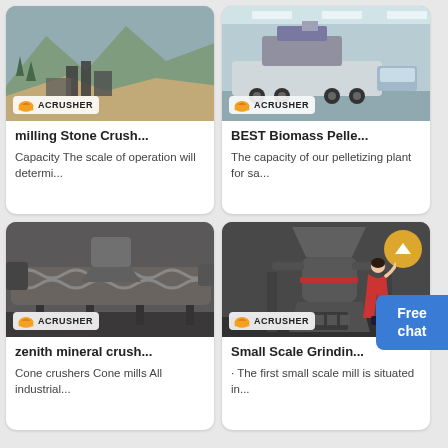[Figure (photo): Quarry/mining site with heavy machinery, mountains in background, ACRUSHER logo badge]
milling Stone Crush...
Capacity The scale of operation will determi...
[Figure (photo): Mobile crushing plant on truck trailer indoors, ACRUSHER logo badge]
BEST Biomass Pelle...
The capacity of our pelletizing plant for sa...
[Figure (photo): Industrial spiral/screw conveyor equipment in warehouse, ACRUSHER logo badge]
zenith mineral crush...
Cone crushers Cone mills All industrial...
[Figure (photo): Large vertical cone grinding mill machine, grey, ACRUSHER logo badge, scroll-up button]
Small Scale Grindin...
· The first small scale mill is situated in...